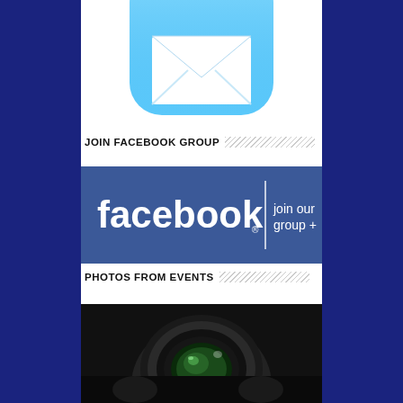[Figure (illustration): iOS-style message/email app icon with blue rounded rectangle background and white envelope silhouette, partially cropped at top]
JOIN FACEBOOK GROUP
[Figure (logo): Facebook 'join our group +' banner button with blue background, white facebook wordmark on left and white vertical divider line with 'join our group +' text on right]
PHOTOS FROM EVENTS
[Figure (photo): Close-up photo of a camera lens being held, dark background with lens details visible]